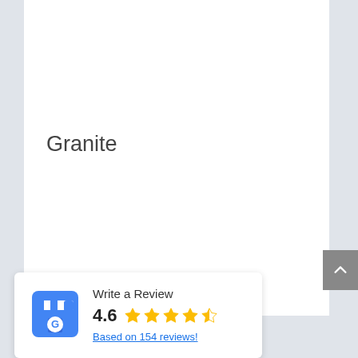Granite
[Figure (logo): Google My Business store icon — blue building with white G logo]
Write a Review
4.6 ★★★★½
Based on 154 reviews!